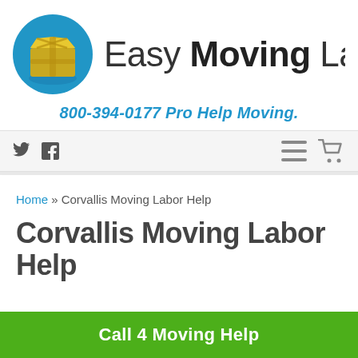[Figure (logo): Easy Moving Labor logo: blue circle with yellow cardboard box icon, text 'Easy Moving Labor' beside it]
800-394-0177 Pro Help Moving.
[Figure (screenshot): Navigation bar with Twitter and Facebook icons on the left, hamburger menu and shopping cart icons on the right]
Home » Corvallis Moving Labor Help
Corvallis Moving Labor Help
Call 4 Moving Help